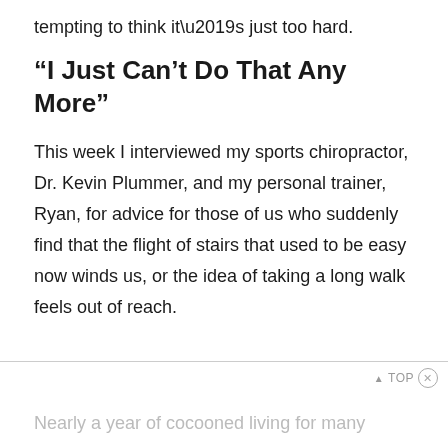tempting to think it’s just too hard.
“I Just Can’t Do That Any More”
This week I interviewed my sports chiropractor, Dr. Kevin Plummer, and my personal trainer, Ryan, for advice for those of us who suddenly find that the flight of stairs that used to be easy now winds us, or the idea of taking a long walk feels out of reach.
Nearly a year of cocooned living for many